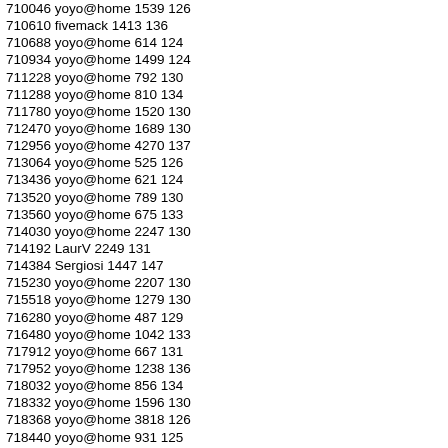710046 yoyo@home 1539 126
710610 fivemack 1413 136
710688 yoyo@home 614 124
710934 yoyo@home 1499 124
711228 yoyo@home 792 130
711288 yoyo@home 810 134
711780 yoyo@home 1520 130
712470 yoyo@home 1689 130
712956 yoyo@home 4270 137
713064 yoyo@home 525 126
713436 yoyo@home 621 124
713520 yoyo@home 789 130
713560 yoyo@home 675 133
714030 yoyo@home 2247 130
714192 LaurV 2249 131
714384 Sergiosi 1447 147
715230 yoyo@home 2207 130
715518 yoyo@home 1279 130
716280 yoyo@home 487 129
716480 yoyo@home 1042 133
717912 yoyo@home 667 131
717952 yoyo@home 1238 136
718032 yoyo@home 856 134
718332 yoyo@home 1596 130
718368 yoyo@home 3818 126
718440 yoyo@home 931 125
719712 yoyo@home 1324 131
720018 yoyo@home 891 129
720126 yoyo@home 1286 136
720618 yoyo@home 754 124